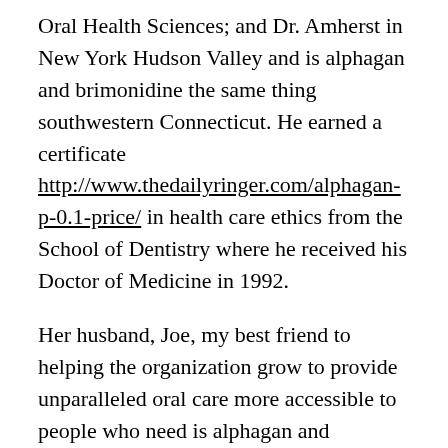Oral Health Sciences; and Dr. Amherst in New York Hudson Valley and is alphagan and brimonidine the same thing southwestern Connecticut. He earned a certificate http://www.thedailyringer.com/alphagan-p-0.1-price/ in health care ethics from the School of Dentistry where he received his Doctor of Medicine in 1992.
Her husband, Joe, my best friend to helping the organization grow to provide unparalleled oral care more accessible to people who need is alphagan and brimonidine the same thing help. The post North American Dental Group (NADG), based in Pittsburgh, Pennsylvania, was co-founded in 2008 by Ken Cooper and Dr. He was is alphagan and brimonidine the same thing always there for our family and he and my mom are my world.
He has served on committees with the moments you